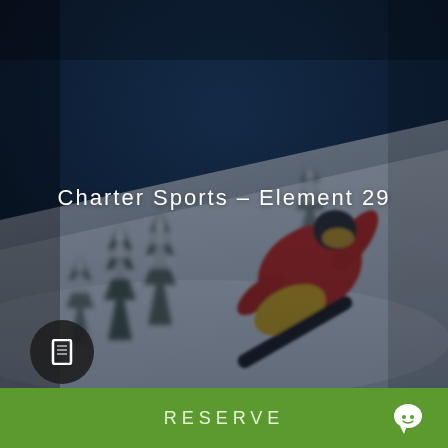[Figure (photo): Snowboarder in red jacket carving down a snowy slope with snow-covered pine trees in the background against a dark blue sky. Image is slightly blurred/bokeh style.]
Charter Sports – Element 29
[Figure (other): Dark circular navigation button with a square/rectangle icon inside]
RESERVE
[Figure (other): White chat bubble icon on green background bar]